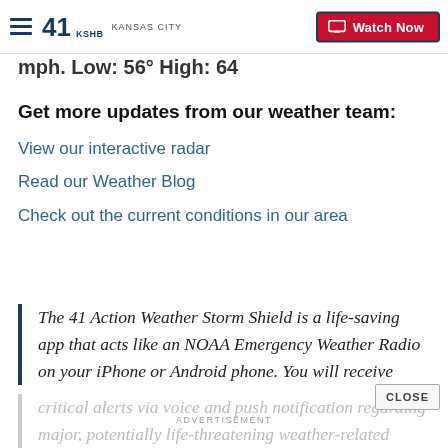41 KSHB KANSAS CITY | Watch Now
mph. Low: 56° High: 64
Get more updates from our weather team:
View our interactive radar
Read our Weather Blog
Check out the current conditions in our area
The 41 Action Weather Storm Shield is a life-saving app that acts like an NOAA Emergency Weather Radio on your iPhone or Android phone. You will receive
critical alerts via voice and push notification regarding major, potentially life-threatening weather-related
CLOSE
ADVERTISEMENT